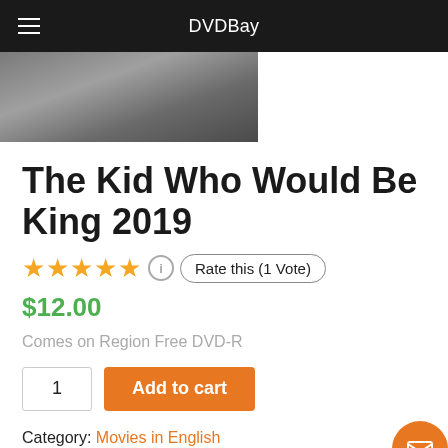DVDBay
[Figure (photo): Partial thumbnail image of the movie, showing blurred scene]
The Kid Who Would Be King 2019
★★★★½  Rate this (1 Vote)
$12.00
Comes on Region Free DVD-R
1  Add to cart
Category: Movies in English